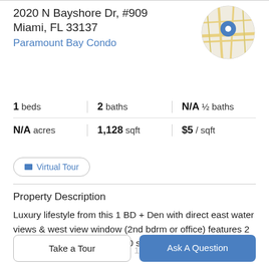2020 N Bayshore Dr, #909
Miami, FL 33137
Paramount Bay Condo
[Figure (map): Circular map thumbnail showing street map with blue location pin marker]
1 beds | 2 baths | N/A ½ baths | N/A acres | 1,128 sqft | $5 / sqft
Virtual Tour
Property Description
Luxury lifestyle from this 1 BD + Den with direct east water views & west view window (2nd bdrm or office) features 2 full baths & boasts over 1200 sf w/ top of the line finishes.
Enjoy a private elevator entry, 10 ft ceilings w/ floor to
Take a Tour
Ask A Question